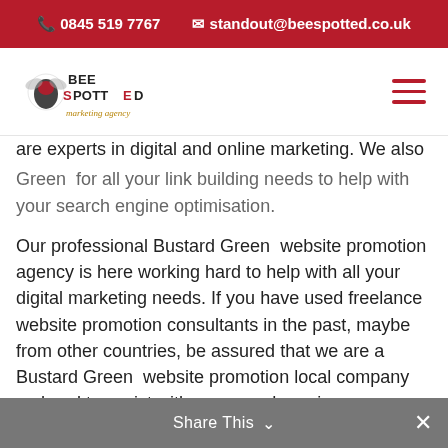0845 519 7767   standout@beespotted.co.uk
[Figure (logo): Bee Spotted Marketing Agency logo with bee illustration and stylized text]
are experts in digital and online marketing. We also
Green  for all your link building needs to help with your search engine optimisation.
Our professional Bustard Green  website promotion agency is here working hard to help with all your digital marketing needs. If you have used freelance website promotion consultants in the past, maybe from other countries, be assured that we are a Bustard Green  website promotion local company on hand to assist with any search engine optimisation issues you may have with your website. Being based in Bustard Green  gives us an advantage over national companies; our website promotion services can help you long term with your business website
Share This